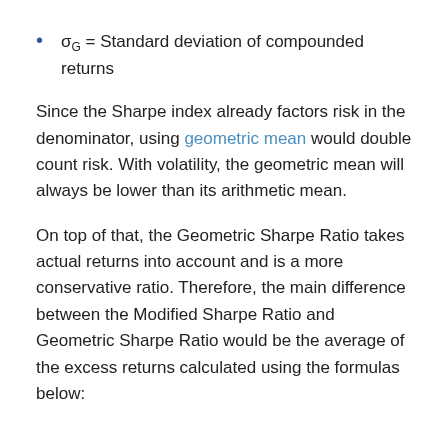σG = Standard deviation of compounded returns
Since the Sharpe index already factors risk in the denominator, using geometric mean would double count risk. With volatility, the geometric mean will always be lower than its arithmetic mean.
On top of that, the Geometric Sharpe Ratio takes actual returns into account and is a more conservative ratio. Therefore, the main difference between the Modified Sharpe Ratio and Geometric Sharpe Ratio would be the average of the excess returns calculated using the formulas below: